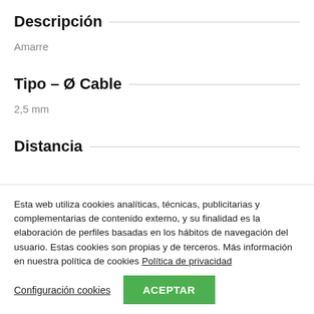Descripción
Amarre
Tipo – Ø Cable
2,5 mm
Distancia
Esta web utiliza cookies analíticas, técnicas, publicitarias y complementarias de contenido externo, y su finalidad es la elaboración de perfiles basadas en los hábitos de navegación del usuario. Estas cookies son propias y de terceros. Más información en nuestra política de cookies Política de privacidad
Configuración cookies
ACEPTAR